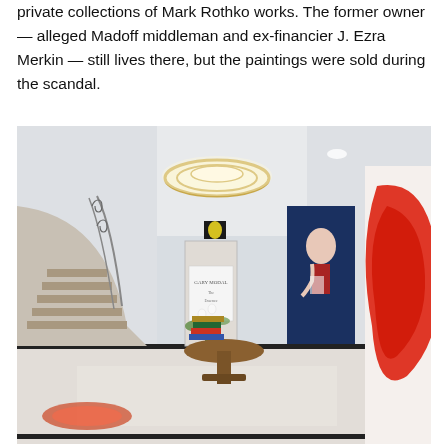private collections of Mark Rothko works. The former owner — alleged Madoff middleman and ex-financier J. Ezra Merkin — still lives there, but the paintings were sold during the scandal.
[Figure (photo): Interior of an upscale apartment foyer featuring a curved staircase with ornate iron railings, a round pedestal table with stacked books and a plant centerpiece, a circular flush-mount ceiling light fixture, marble floors with dark inlay borders, and large artworks on the walls including a red abstract painting on the right and a blue portrait painting. There is also a small yellow figure artwork above a doorway.]